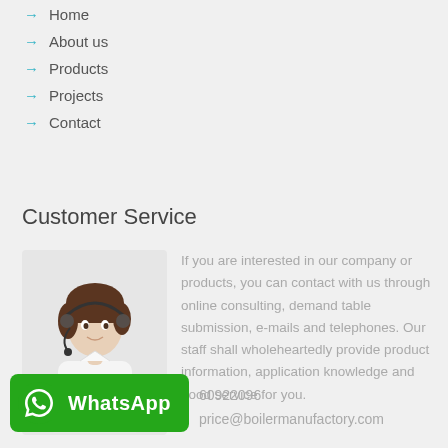→ Home
→ About us
→ Products
→ Projects
→ Contact
Customer Service
[Figure (photo): Woman with headset in white blouse, customer service representative]
If you are interested in our company or products, you can contact with us through online consulting, demand table submission, e-mails and telephones. Our staff shall wholeheartedly provide product information, application knowledge and good service for you.
[Figure (logo): WhatsApp button with icon and label]
60922096
price@boilermanufactory.com